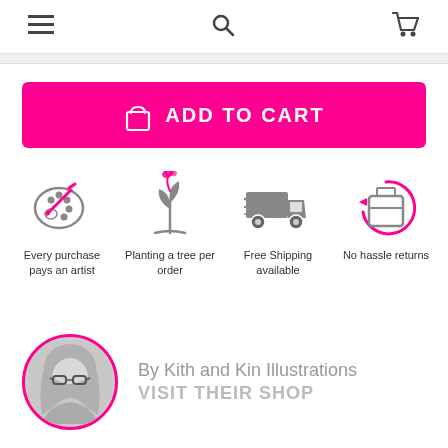≡ 🔍 🛒
[Figure (screenshot): Add to Cart button - bright pink/magenta button with shopping bag icon and text ADD TO CART]
[Figure (infographic): Four feature icons in a row: paint palette (Every purchase pays an artist), sprouting plant (Planting a tree per order), delivery truck (Free Shipping available), package with arrow (No hassle returns)]
[Figure (photo): Circular profile photo of a woman with glasses and blonde hair, black and white, with pink border]
By Kith and Kin Illustrations
VISIT THEIR SHOP